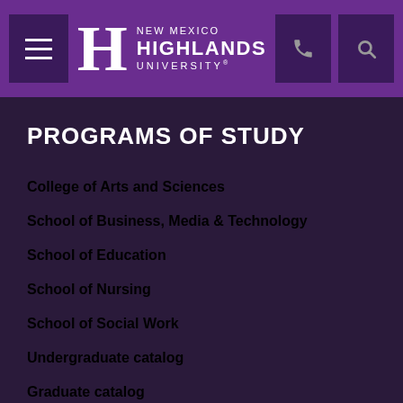[Figure (logo): New Mexico Highlands University logo with hamburger menu, phone and search icons in purple header bar]
PROGRAMS OF STUDY
College of Arts and Sciences
School of Business, Media & Technology
School of Education
School of Nursing
School of Social Work
Undergraduate catalog
Graduate catalog
Office of Graduate Studies